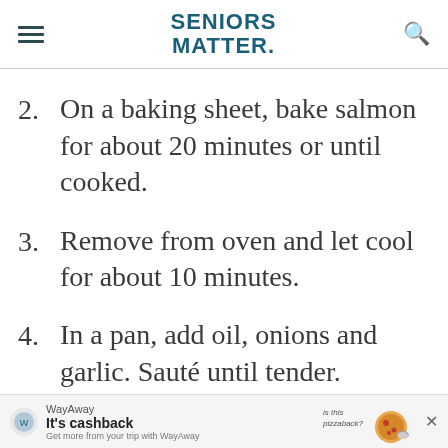SENIORS MATTER.
2. On a baking sheet, bake salmon for about 20 minutes or until cooked.
3. Remove from oven and let cool for about 10 minutes.
4. In a pan, add oil, onions and garlic. Sauté until tender.
5. Add carrots and pepper to pan and cook
[Figure (infographic): WayAway advertisement banner: 'It's cashback — Get more from your trip with WayAway' with pizza illustration and 'is this pizzaback?' text, close button X]